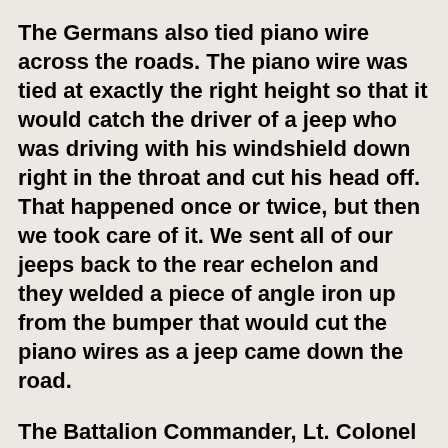The Germans also tied piano wire across the roads. The piano wire was tied at exactly the right height so that it would catch the driver of a jeep who was driving with his windshield down right in the throat and cut his head off. That happened once or twice, but then we took care of it. We sent all of our jeeps back to the rear echelon and they welded a piece of angle iron up from the bumper that would cut the piano wires as a jeep came down the road.
The Battalion Commander, Lt. Colonel Wesson, received orders to attack the German position and we moved out. We were trying to down the Falaise Gap and...